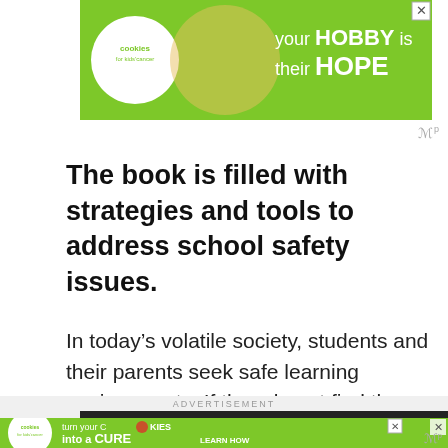[Figure (screenshot): Green advertisement banner for 'Cookies for Kids Cancer' with text 'your HOBBY is their HOPE' and a close button]
The book is filled with strategies and tools to address school safety issues.
In today's volatile society, students and their parents seek safe learning environments. If they do not find them, the students may leave school.
[Figure (screenshot): Green advertisement banner for 'Cookies for Kids Cancer' with text 'turn your COOKIES into a CURE LEARN HOW' and a close button, with ADVERTISEMENT label above]